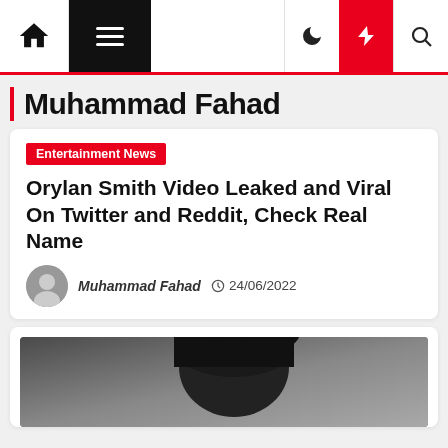Navigation bar with home, menu, dark mode, lightning/trending, and search icons
Muhammad Fahad
Entertainment News
Orylan Smith Video Leaked and Viral On Twitter and Reddit, Check Real Name
Muhammad Fahad  24/06/2022
[Figure (photo): Portrait photo of a person with dark hair, cropped at the top of the page card]